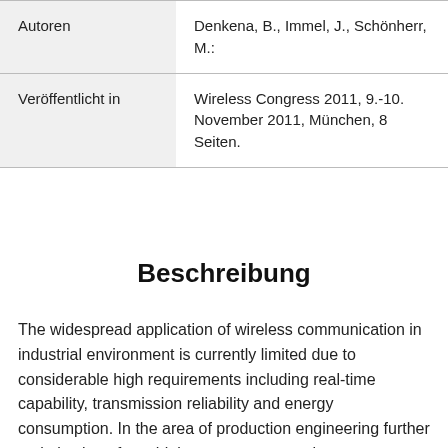|  |  |
| --- | --- |
| Autoren | Denkena, B., Immel, J., Schönherr, M.: |
| Veröffentlicht in | Wireless Congress 2011, 9.-10. November 2011, München, 8 Seiten. |
Beschreibung
The widespread application of wireless communication in industrial environment is currently limited due to considerable high requirements including real-time capability, transmission reliability and energy consumption. In the area of production engineering further optimization of machining processes requires